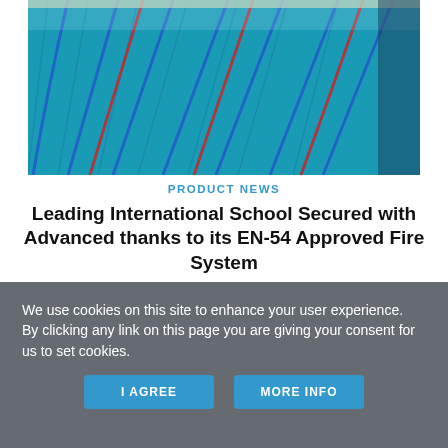[Figure (photo): Aerial view of a swimming pool with blue water and colored lane dividers (blue and red ropes)]
PRODUCT NEWS
Leading International School Secured with Advanced thanks to its EN-54 Approved Fire System
An addressable fire system from Advanced has been chosen to protect an international school in Myanmar, thanks to its EN-54 approval and integrated false alarm
We use cookies on this site to enhance your user experience.
By clicking any link on this page you are giving your consent for us to set cookies.